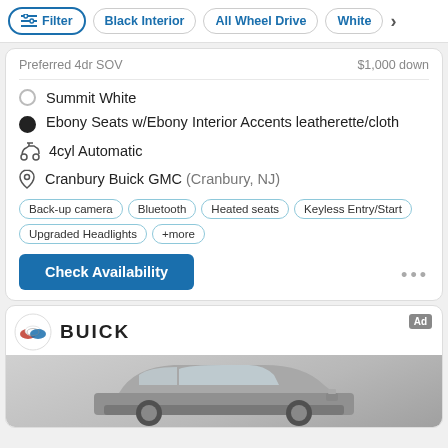Filter | Black Interior | All Wheel Drive | White
Preferred 4dr SUV — $1,000 down
Summit White
Ebony Seats w/Ebony Interior Accents leatherette/cloth
4cyl Automatic
Cranbury Buick GMC (Cranbury, NJ)
Back-up camera  Bluetooth  Heated seats  Keyless Entry/Start  Upgraded Headlights  +more
Check Availability
[Figure (logo): Buick logo and brand name advertisement card with a silver SUV vehicle photo below]